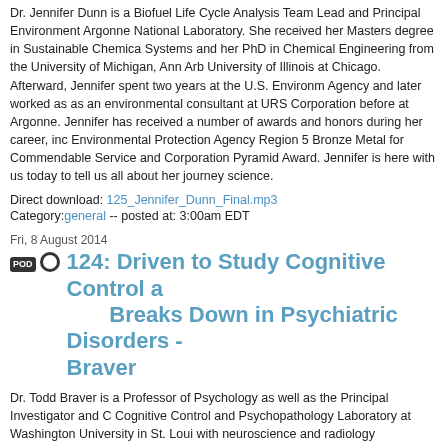Dr. Jennifer Dunn is a Biofuel Life Cycle Analysis Team Lead and Principal Environment Argonne National Laboratory. She received her Masters degree in Sustainable Chemica Systems and her PhD in Chemical Engineering from the University of Michigan, Ann Arb University of Illinois at Chicago. Afterward, Jennifer spent two years at the U.S. Environm Agency and later worked as as an environmental consultant at URS Corporation before at Argonne. Jennifer has received a number of awards and honors during her career, inc Environmental Protection Agency Region 5 Bronze Metal for Commendable Service and Corporation Pyramid Award. Jennifer is here with us today to tell us all about her journey science.
Direct download: 125_Jennifer_Dunn_Final.mp3
Category: general -- posted at: 3:00am EDT
Fri, 8 August 2014
124: Driven to Study Cognitive Control a Breaks Down in Psychiatric Disorders - Braver
Dr. Todd Braver is a Professor of Psychology as well as the Principal Investigator and C Cognitive Control and Psychopathology Laboratory at Washington University in St. Loui with neuroscience and radiology departments. He received his Masters and PhD in Cog from Carnegie Mellon University before joining the faculty at Washington University. Tod number of awards and honors during his career, including the NARSAD Constance Lieb Investigator Award, the F.J. McGuigan Young Investigator Award from the American Psy Association...